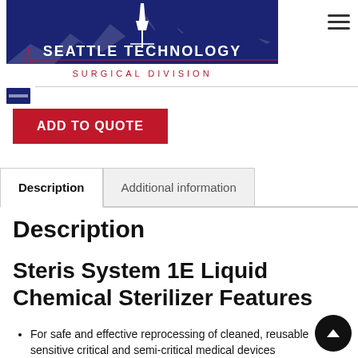[Figure (logo): Seattle Technology Surgical Division logo — dark navy background with Space Needle and mountain skyline silhouette, text 'SEATTLE TECHNOLOGY' in white and 'SURGICAL DIVISION' in red below]
ADD TO QUOTE
Description
Additional information
Description
Steris System 1E Liquid Chemical Sterilizer Features
For safe and effective reprocessing of cleaned, reusable sensitive critical and semi-critical medical devices